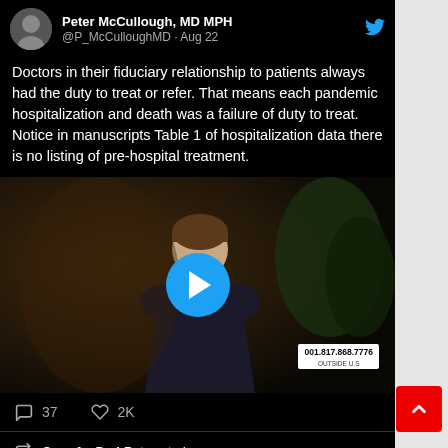Peter McCullough, MD MPH · @P_McCulloughMD · Aug 22
Doctors in their fiduciary relationship to patients always had the duty to treat or refer. That means each pandemic hospitalization and death was a failure of duty to treat. Notice in manuscripts Table 1 of hospitalization data there is no listing of pre-hospital treatment.
[Figure (screenshot): Video thumbnail of a man in a dark suit and tie seated at a desk, with a blue play button overlay in the center and a phone number overlay '001.817.868.7776 OUTSIDE U.S' in the lower right]
37   2K
ConcAmDad Retweeted